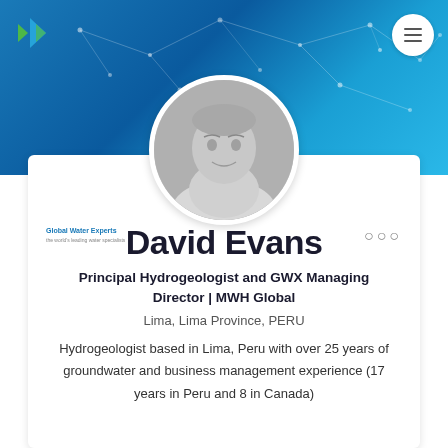[Figure (photo): Blue gradient header background with white network/node connection lines overlay pattern]
[Figure (logo): Green and blue arrow/leaf logo icon in top left of header]
[Figure (photo): Circular profile photo of David Evans, a middle-aged man with grey hair, black and white photo]
[Figure (logo): Global Water Experts logo text in small size]
David Evans
Principal Hydrogeologist and GWX Managing Director | MWH Global
Lima, Lima Province, PERU
Hydrogeologist based in Lima, Peru with over 25 years of groundwater and business management experience (17 years in Peru and 8 in Canada)